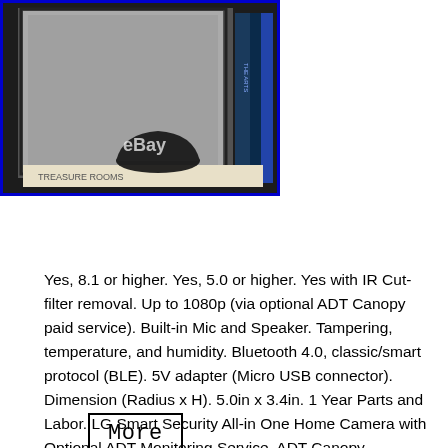[Figure (photo): A photo showing books on a shelf including 'Treasure Rooms' and 'The Arts', with a dark decorative bowl object, framed by a blue border. eBay watermark visible.]
[Figure (screenshot): A button/banner image with text 'More info on eBay' in Courier monospace font with a black border.]
Yes, 8.1 or higher. Yes, 5.0 or higher. Yes with IR Cut-filter removal. Up to 1080p (via optional ADT Canopy paid service). Built-in Mic and Speaker. Tampering, temperature, and humidity. Bluetooth 4.0, classic/smart protocol (BLE). 5V adapter (Micro USB connector). Dimension (Radius x H). 5.0in x 3.4in. 1 Year Parts and Labor. LG Smart Security All-in One Home Camera with Optional ADT Monitoring Service. ADT Canopy Professional Security Monitoring. LG Smart Security and ADT Canopy bring you home security. And smart home management that give you peace of mind. Convenience and control from anywhere.